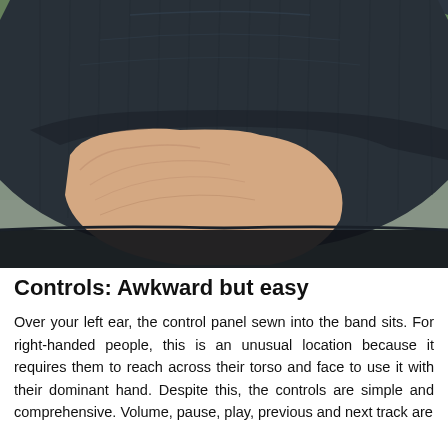[Figure (photo): A hand holding a dark navy/charcoal knitted beanie hat, shown against a blurred outdoor background with green foliage. The hat is being held up, showing the ribbed fabric and seaming detail.]
Controls: Awkward but easy
Over your left ear, the control panel sewn into the band sits. For right-handed people, this is an unusual location because it requires them to reach across their torso and face to use it with their dominant hand. Despite this, the controls are simple and comprehensive. Volume, pause, play, previous and next track are